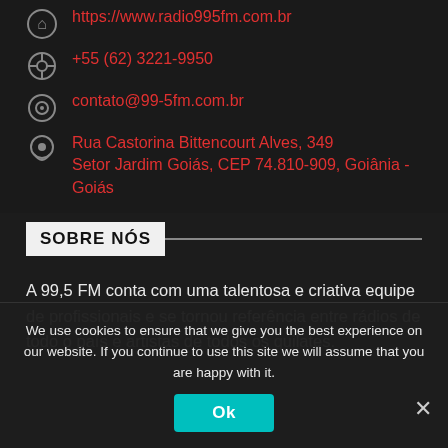https://www.radio995fm.com.br
+55 (62) 3221-9950
contato@99-5fm.com.br
Rua Castorina Bittencourt Alves, 349
Setor Jardim Goiás, CEP 74.810-909, Goiânia - Goiás
SOBRE NÓS
A 99,5 FM conta com uma talentosa e criativa equipe de profissionais e se tornou referência entre rádios de todo o país e artistas de todos os quilates.
We use cookies to ensure that we give you the best experience on our website. If you continue to use this site we will assume that you are happy with it.